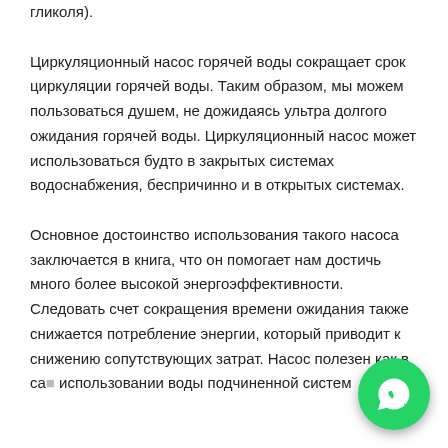гликоля).
Циркуляционный насос горячей воды сокращает срок циркуляции горячей воды. Таким образом, мы можем пользоваться душем, не дожидаясь ультра долгого ожидания горячей воды. Циркуляционный насос может использоваться будто в закрытых системах водоснабжения, беспричинно и в открытых системах.
Основное достоинство использования такого насоса заключается в книга, что он помогает нам достичь много более высокой энергоэффективности. Следовать счет сокращения времени ожидания также снижается потребление энергии, который приводит к снижению сопутствующих затрат. Насос полезен как в са использовании воды подчиненной систем
[Figure (other): WhatsApp contact button (green circle with phone handset icon)]